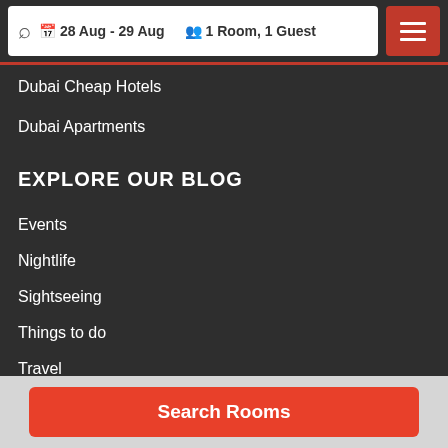28 Aug - 29 Aug  1 Room, 1 Guest
Dubai Cheap Hotels
Dubai Apartments
EXPLORE OUR BLOG
Events
Nightlife
Sightseeing
Things to do
Travel
SOCIAL CHANNELS
Search Rooms